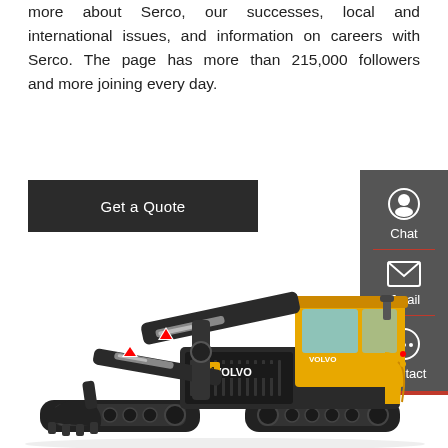more about Serco, our successes, local and international issues, and information on careers with Serco. The page has more than 215,000 followers and more joining every day.
Get a Quote
[Figure (other): Sidebar with Chat, Email, and Contact icons on dark grey background]
[Figure (photo): Volvo compact excavator (mini excavator) with yellow cab and black tracks on white background]